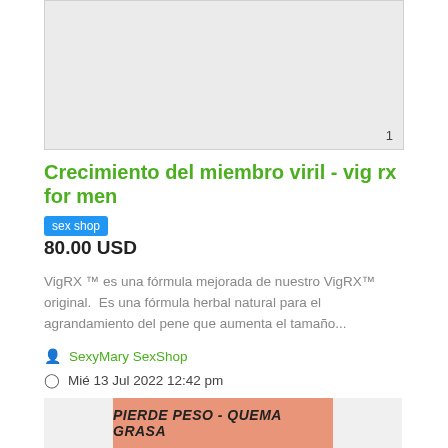[Figure (photo): Gray placeholder image area with page number 1 in bottom right corner]
Crecimiento del miembro viril - vig rx for men
sex shop
80.00 USD
VigRX ™ es una fórmula mejorada de nuestro VigRX™ original. Es una fórmula herbal natural para el agrandamiento del pene que aumenta el tamaño...
SexyMary SexShop
Mié 13 Jul 2022 12:42 pm
179 Vistas
[Figure (infographic): Bottom banner with salmon/orange gradient area displaying text PIERDE PESO - QUEMA GRASA in italic bold]